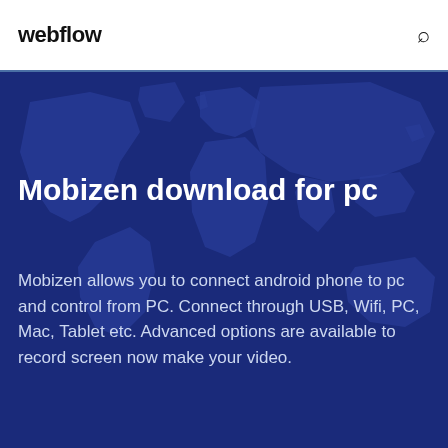webflow
[Figure (illustration): Dark blue world map background with lighter blue continent outlines on a deep navy background]
Mobizen download for pc
Mobizen allows you to connect android phone to pc and control from PC. Connect through USB, Wifi, PC, Mac, Tablet etc. Advanced options are available to record screen now make your video.